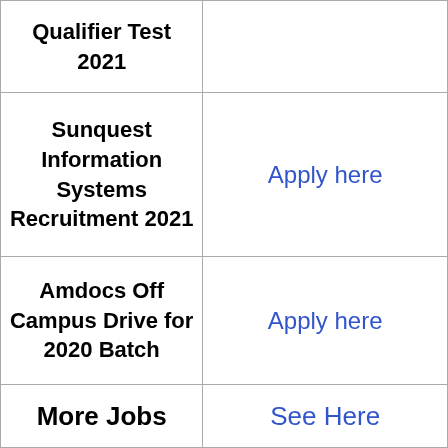| Job/Test Name | Apply Link |
| --- | --- |
| Qualifier Test 2021 |  |
| Sunquest Information Systems Recruitment 2021 | Apply here |
| Amdocs Off Campus Drive for 2020 Batch | Apply here |
| More Jobs | See Here |